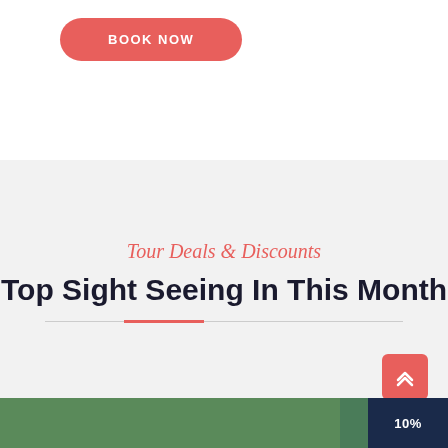[Figure (screenshot): Red pill-shaped button with white bold uppercase text 'BOOK NOW' on white background]
Tour Deals & Discounts
Top Sight Seeing In This Month
[Figure (screenshot): Red scroll-to-top button with upward double chevron arrow icon, bottom right corner]
[Figure (photo): Bottom strip showing green foliage photo on left and dark navy badge with '10%' text on right]